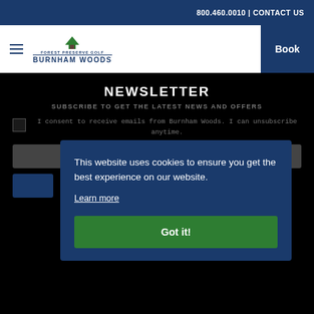800.460.0010 | CONTACT US
[Figure (logo): Burnham Woods golf club logo with tree icon, hamburger menu, and Book button]
NEWSLETTER
SUBSCRIBE TO GET THE LATEST NEWS AND OFFERS
I consent to receive emails from Burnham Woods. I can unsubscribe anytime.
This website uses cookies to ensure you get the best experience on our website. Learn more
Got it!